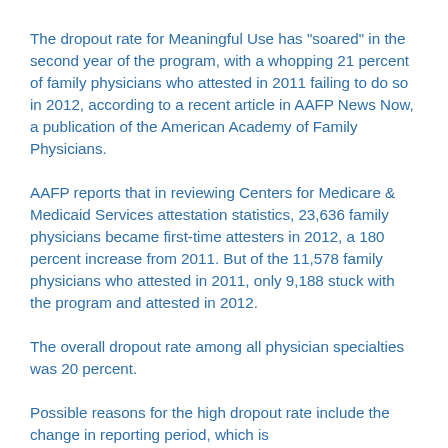The dropout rate for Meaningful Use has "soared" in the second year of the program, with a whopping 21 percent of family physicians who attested in 2011 failing to do so in 2012, according to a recent article in AAFP News Now, a publication of the American Academy of Family Physicians.
AAFP reports that in reviewing Centers for Medicare & Medicaid Services attestation statistics, 23,636 family physicians became first-time attesters in 2012, a 180 percent increase from 2011. But of the 11,578 family physicians who attested in 2011, only 9,188 stuck with the program and attested in 2012.
The overall dropout rate among all physician specialties was 20 percent.
Possible reasons for the high dropout rate include the change in reporting period, which is